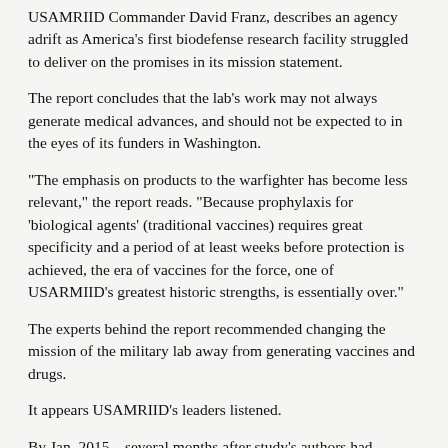USAMRIID Commander David Franz, describes an agency adrift as America's first biodefense research facility struggled to deliver on the promises in its mission statement.
The report concludes that the lab's work may not always generate medical advances, and should not be expected to in the eyes of its funders in Washington.
“The emphasis on products to the warfighter has become less relevant,” the report reads. “Because prophylaxis for ‘biological agents’ (traditional vaccines) requires great specificity and a period of at least weeks before protection is achieved, the era of vaccines for the force, one of USARMIID’s greatest historic strengths, is essentially over.”
The experts behind the report recommended changing the mission of the military lab away from generating vaccines and drugs.
It appears USAMRIID’s leaders listened.
By Jan. 2015 – several months after study’s authors had convened in June 2014 – the vision of the lab had changed on its website from “right product, right time for the Warfighter” to a more general statement about leadership in medical biological defense, according to changes accessed...